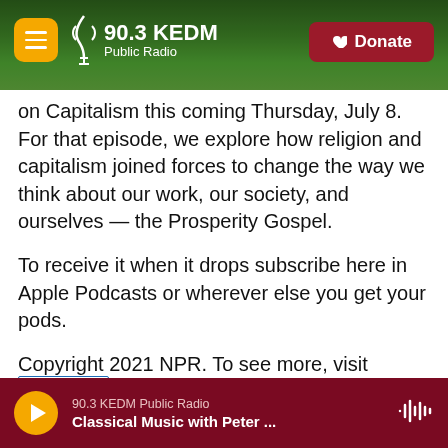90.3 KEDM Public Radio | Donate
on Capitalism this coming Thursday, July 8. For that episode, we explore how religion and capitalism joined forces to change the way we think about our work, our society, and ourselves — the Prosperity Gospel.
To receive it when it drops subscribe here in Apple Podcasts or wherever else you get your pods.
Copyright 2021 NPR. To see more, visit https://www.npr.org.
Business
90.3 KEDM Public Radio | Classical Music with Peter ...